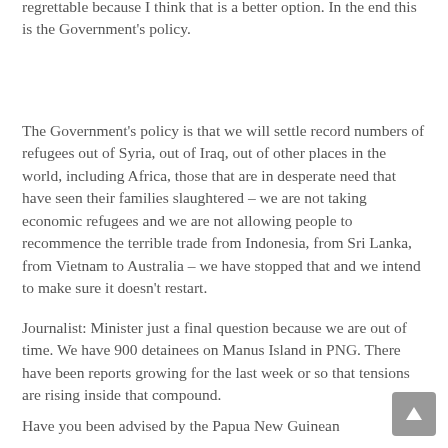regrettable because I think that is a better option. In the end this is the Government's policy.
The Government's policy is that we will settle record numbers of refugees out of Syria, out of Iraq, out of other places in the world, including Africa, those that are in desperate need that have seen their families slaughtered – we are not taking economic refugees and we are not allowing people to recommence the terrible trade from Indonesia, from Sri Lanka, from Vietnam to Australia – we have stopped that and we intend to make sure it doesn't restart.
Journalist: Minister just a final question because we are out of time. We have 900 detainees on Manus Island in PNG. There have been reports growing for the last week or so that tensions are rising inside that compound.
Have you been advised by the Papua New Guinean